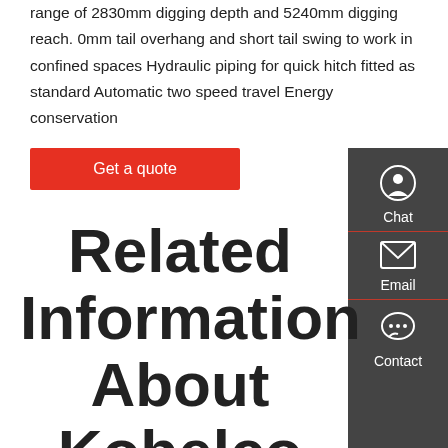range of 2830mm digging depth and 5240mm digging reach. 0mm tail overhang and short tail swing to work in confined spaces Hydraulic piping for quick hitch fitted as standard Automatic two speed travel Energy conservation
[Figure (other): Red button labeled 'Get a quote']
[Figure (other): Dark sidebar with Chat, Email, and Contact icons]
Related Information About Kobelco Excavator Dealers In Orissa